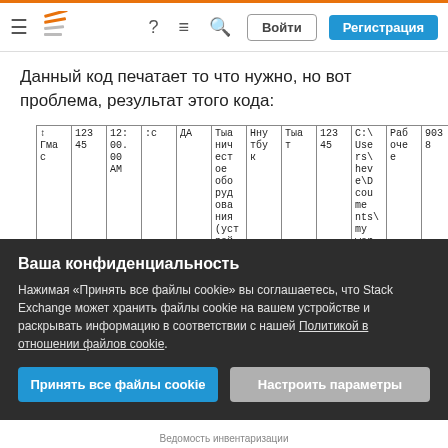[Figure (screenshot): Stack Overflow / Stack Exchange navigation bar with hamburger menu, logo, icons for help, chat, search, and buttons for login and registration in Russian (Войти, Регистрация)]
Данный код печатает то что нужно, но вот проблема, результат этого кода:
[Figure (table-as-image): A data table screenshot showing columns with truncated text: Гма с, 123 45, 12:00:00 AM, :с, ДА, Тыа нич ест ое обо руд ова ния (уст рой ств о), Нну тбу к, Тыа т, 123 45, С:\ Users\ hev e\ D\ Docu ments\ my wor kin thu bit, Раб оче e, 903 8, 1/2 2/2 022 12: 00: C0 AM, Вис оль ев, 300 00. 00]
Ваша конфиденциальность
Нажимая «Принять все файлы cookie» вы соглашаетесь, что Stack Exchange может хранить файлы cookie на вашем устройстве и раскрывать информацию в соответствии с нашей Политикой в отношении файлов cookie.
Принять все файлы cookie
Настроить параметры
Ведомость инвентаризации